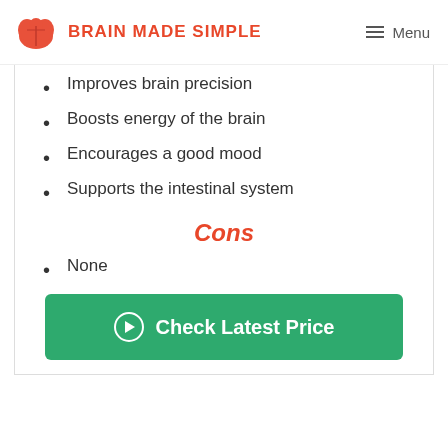BRAIN MADE SIMPLE | Menu
Improves brain precision
Boosts energy of the brain
Encourages a good mood
Supports the intestinal system
Cons
None
Check Latest Price